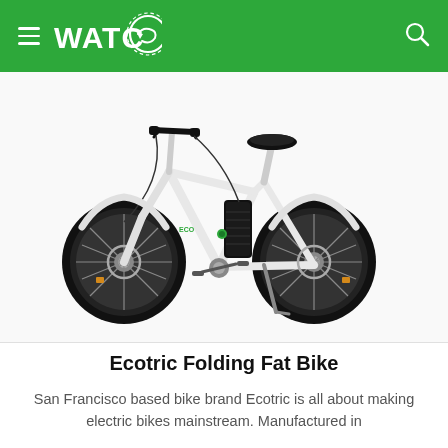WATC (logo/navigation header)
[Figure (photo): White Ecotric folding fat tire electric bike with thick black tires, black seat, handlebar with controls, battery mounted on frame, and kickstand deployed. White background product photo.]
Ecotric Folding Fat Bike
San Francisco based bike brand Ecotric is all about making electric bikes mainstream. Manufactured in